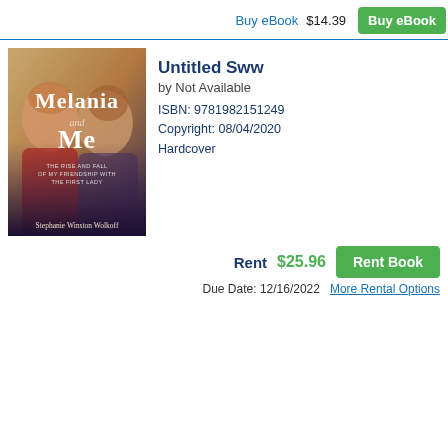Buy eBook   $14.39   Buy eBook
[Figure (photo): Book cover of 'Melania and Me: The Rise and Fall of My Friendship with the First Lady' by Stephanie Winston Wolkoff, showing two women smiling]
Untitled Sww
by Not Available
ISBN: 9781982151249
Copyright: 08/04/2020
Hardcover
Rent   $25.96   Rent Book
Due Date: 12/16/2022   More Rental Options